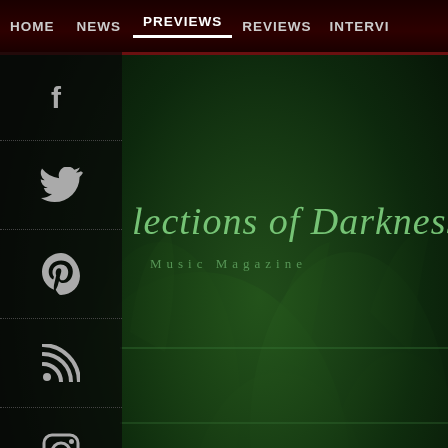HOME  NEWS  PREVIEWS  REVIEWS  INTERVI...
[Figure (screenshot): Social media sidebar with icons for Facebook, Twitter, Pinterest, RSS, and Instagram on dark semi-transparent background]
[Figure (illustration): Header banner for 'lections of Darkness Music Magazine' with dark green tinted crowd background and stylized gothic/italic title text in green]
Latest Previews
Preview BILLY T...